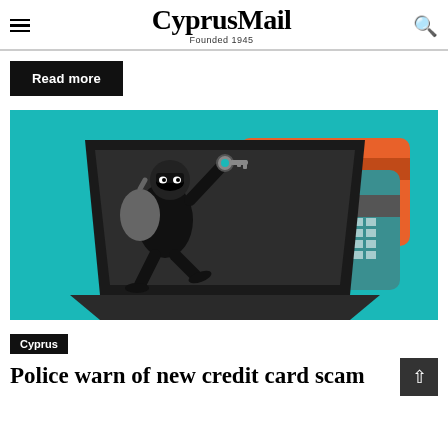CyprusMail — Founded 1945
Read more
[Figure (illustration): Illustration of a thief in black outfit and mask climbing out of a laptop screen, holding a sack and a key, with two credit cards (teal and orange) displayed behind him on a teal background.]
Cyprus
Police warn of new credit card scam